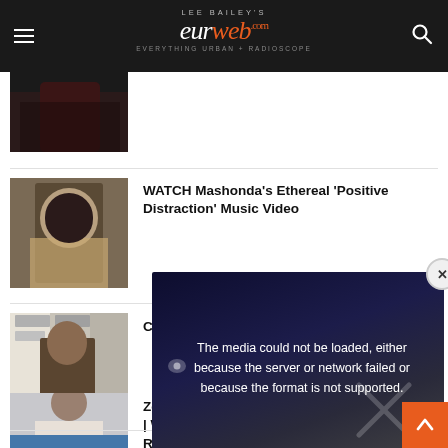LEE BAILEY'S eurweb EVERYTHING URBAN + RADIOSCOPE
[Figure (photo): Partial thumbnail image at top, dark clothing]
WATCH Mashonda's Ethereal 'Positive Distraction' Music Video
[Figure (photo): Woman with black bob haircut, fur clothing]
Cancel Cu... Foxx's 'A...
[Figure (photo): Man in olive sweater in front of Pandora banners]
[Figure (screenshot): Video player error overlay: The media could not be loaded, either because the server or network failed or because the format is not supported.]
Zoë Kravi... | WATCH
[Figure (photo): Woman with short dark hair, white background]
Researcher Reveals Ways People in India Stay Cool Without Air Conditioners
[Figure (photo): People in orange clothing near water]